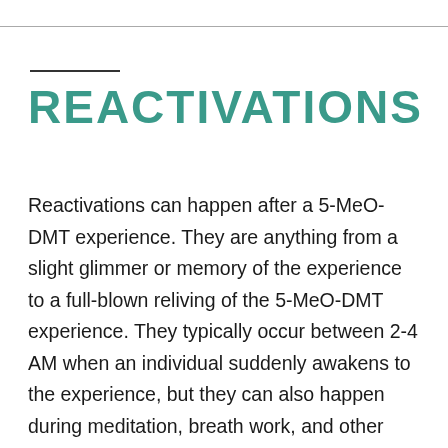REACTIVATIONS
Reactivations can happen after a 5-MeO-DMT experience. They are anything from a slight glimmer or memory of the experience to a full-blown reliving of the 5-MeO-DMT experience. They typically occur between 2-4 AM when an individual suddenly awakens to the experience, but they can also happen during meditation, breath work, and other instances. Reactivations can last anywhere from a few days to weeks and even months or years in the more extreme cases. Extreme reactivations are directly correlated to being overserved by a facilitator. Reactivations can result in: disturbed sleep patterns, insomnia, vivid dreams, anxiety, and more experiences in the